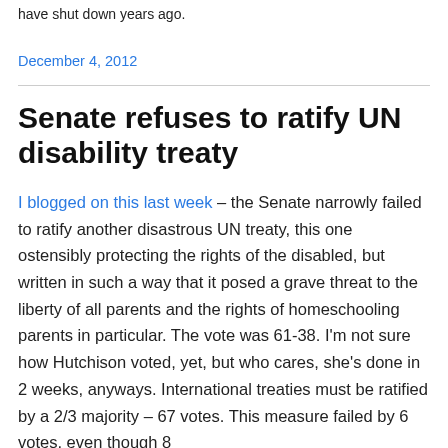have shut down years ago.
December 4, 2012
Senate refuses to ratify UN disability treaty
I blogged on this last week – the Senate narrowly failed to ratify another disastrous UN treaty, this one ostensibly protecting the rights of the disabled, but written in such a way that it posed a grave threat to the liberty of all parents and the rights of homeschooling parents in particular.  The vote was 61-38.  I'm not sure how Hutchison voted, yet, but who cares, she's done in 2 weeks, anyways.  International treaties must be ratified by a 2/3 majority – 67 votes.  This measure failed by 6 votes, even though 8